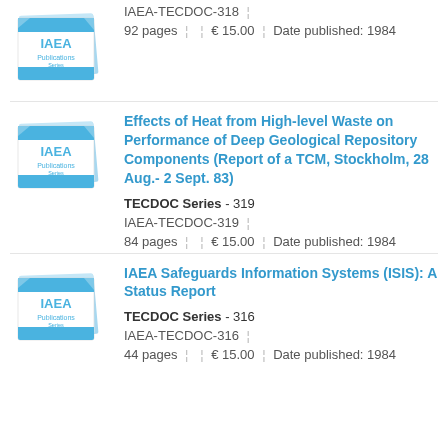[Figure (illustration): IAEA Publications Series book stack thumbnail - blue and white]
IAEA-TECDOC-318
92 pages | | € 15.00 | Date published: 1984
[Figure (illustration): IAEA Publications Series book stack thumbnail - blue and white]
Effects of Heat from High-level Waste on Performance of Deep Geological Repository Components (Report of a TCM, Stockholm, 28 Aug.- 2 Sept. 83)
TECDOC Series - 319
IAEA-TECDOC-319
84 pages | | € 15.00 | Date published: 1984
[Figure (illustration): IAEA Publications Series book stack thumbnail - blue and white]
IAEA Safeguards Information Systems (ISIS): A Status Report
TECDOC Series - 316
IAEA-TECDOC-316
44 pages | | € 15.00 | Date published: 1984